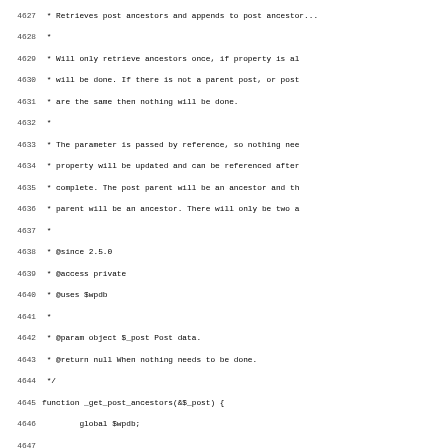Source code listing, lines 4627-4659, PHP function _get_post_ancestors documentation and implementation